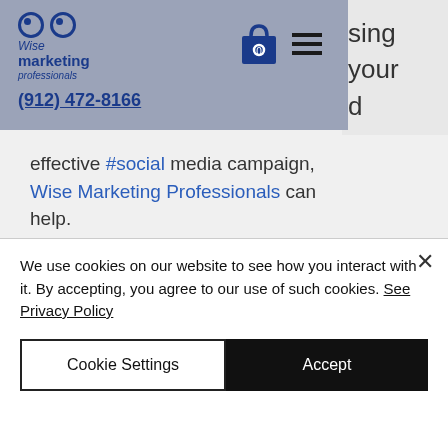Wise Marketing Professionals logo, (912) 472-8166, navigation icons
effective #social media campaign, Wise Marketing Professionals can help.
Marketing on a budget
When you’re working with a limited #budget, it’s wise to learn about
We use cookies on our website to see how you interact with it. By accepting, you agree to our use of such cookies. See Privacy Policy
Cookie Settings
Accept